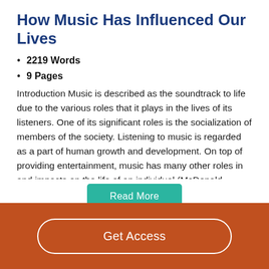How Music Has Influenced Our Lives
2219 Words
9 Pages
Introduction Music is described as the soundtrack to life due to the various roles that it plays in the lives of its listeners. One of its significant roles is the socialization of members of the society. Listening to music is regarded as a part of human growth and development. On top of providing entertainment, music has many other roles in and impacts on the life of an individual (McDonald, Bryne, & Carlton, 2006). Many scholars have engaged in research activities with the aim of observing the roles and…
Read More
Get Access